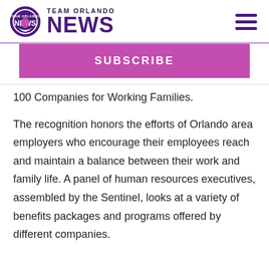TEAM ORLANDO NEWS
SUBSCRIBE
100 Companies for Working Families.
The recognition honors the efforts of Orlando area employers who encourage their employees reach and maintain a balance between their work and family life. A panel of human resources executives, assembled by the Sentinel, looks at a variety of benefits packages and programs offered by different companies.